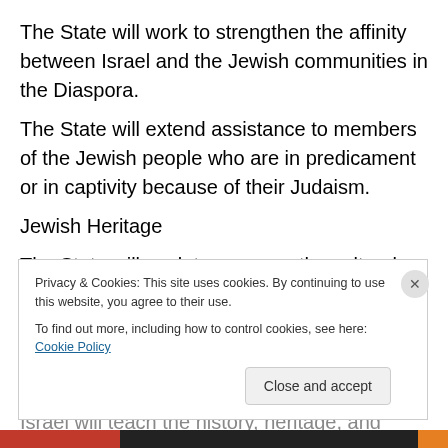The State will work to strengthen the affinity between Israel and the Jewish communities in the Diaspora.
The State will extend assistance to members of the Jewish people who are in predicament or in captivity because of their Judaism.
Jewish Heritage
The State will work to preserve the cultural and historical heritage of the Jewish Nation and to foster it in Israel and in the Diaspora.
All educational institutions that serve a Jewish public in Israel will teach the history, heritage, and tradition of the
Privacy & Cookies: This site uses cookies. By continuing to use this website, you agree to their use.
To find out more, including how to control cookies, see here: Cookie Policy